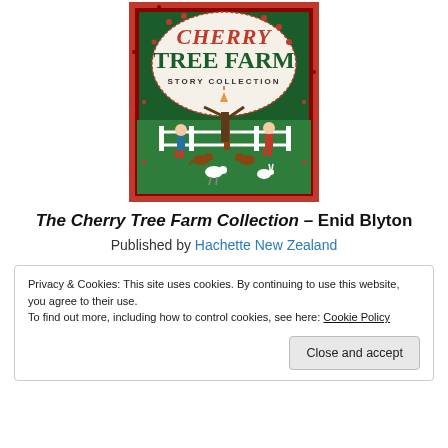[Figure (illustration): Book cover of 'Cherry Tree Farm Story Collection' by Enid Blyton, published by Hachette New Zealand. Red border with green background showing children and animals on a farm scene with a white fence and tree.]
The Cherry Tree Farm Collection – Enid Blyton
Published by Hachette New Zealand
Privacy & Cookies: This site uses cookies. By continuing to use this website, you agree to their use.
To find out more, including how to control cookies, see here: Cookie Policy